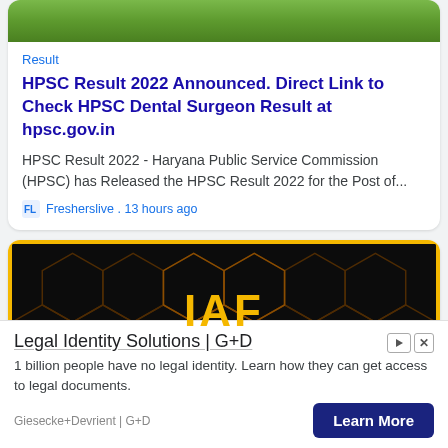[Figure (photo): Grass/turf image at top of card (cropped)]
Result
HPSC Result 2022 Announced. Direct Link to Check HPSC Dental Surgeon Result at hpsc.gov.in
HPSC Result 2022 - Haryana Public Service Commission (HPSC) has Released the HPSC Result 2022 for the Post of...
Fresherslive . 13 hours ago
[Figure (photo): IAF promotional image with hexagonal dark background and gold IAF text, with yellow border]
Legal Identity Solutions | G+D
1 billion people have no legal identity. Learn how they can get access to legal documents.
Giesecke+Devrient | G+D